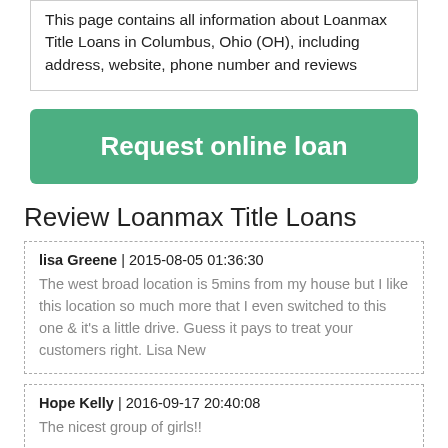This page contains all information about Loanmax Title Loans in Columbus, Ohio (OH), including address, website, phone number and reviews
[Figure (other): Green button labeled 'Request online loan']
Review Loanmax Title Loans
lisa Greene | 2015-08-05 01:36:30
The west broad location is 5mins from my house but I like this location so much more that I even switched to this one & it's a little drive. Guess it pays to treat your customers right. Lisa New
Hope Kelly | 2016-09-17 20:40:08
The nicest group of girls!!